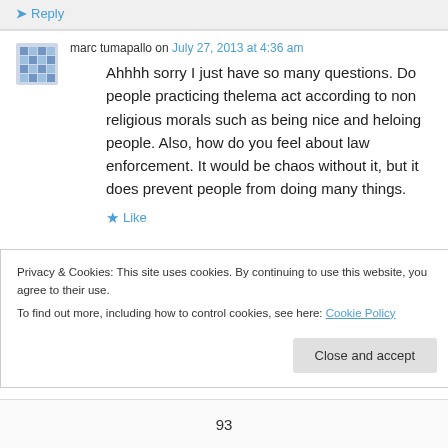Reply
marc tumapallo on July 27, 2013 at 4:36 am
Ahhhh sorry I just have so many questions. Do people practicing thelema act according to non religious morals such as being nice and heloing people. Also, how do you feel about law enforcement. It would be chaos without it, but it does prevent people from doing many things.
Like
Privacy & Cookies: This site uses cookies. By continuing to use this website, you agree to their use.
To find out more, including how to control cookies, see here: Cookie Policy
Close and accept
93